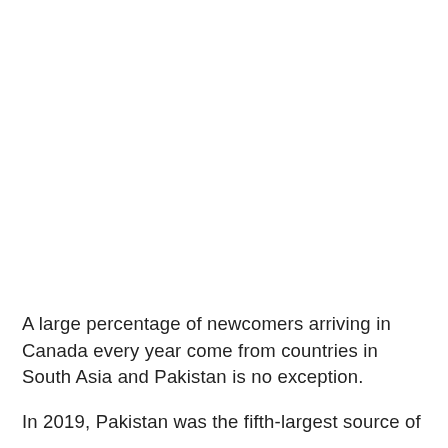A large percentage of newcomers arriving in Canada every year come from countries in South Asia and Pakistan is no exception.
In 2019, Pakistan was the fifth-largest source of